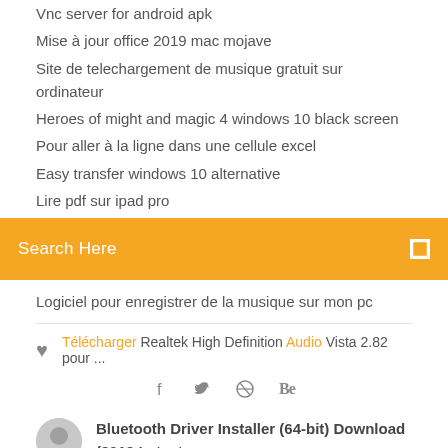Vnc server for android apk
Mise à jour office 2019 mac mojave
Site de telechargement de musique gratuit sur ordinateur
Heroes of might and magic 4 windows 10 black screen
Pour aller à la ligne dans une cellule excel
Easy transfer windows 10 alternative
Lire pdf sur ipad pro
[Figure (other): Orange search bar with white text 'Search Here' and a small white icon on the right]
Logiciel pour enregistrer de la musique sur mon pc
♥ Télécharger Realtek High Definition Audio Vista 2.82 pour ...
[Figure (other): Social media icons: Facebook (f), Twitter (bird), Dribbble, Behance]
Bluetooth Driver Installer (64-bit) Download (2019 Latest ...